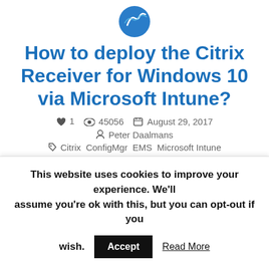[Figure (logo): Circular logo/avatar icon at top of page]
How to deploy the Citrix Receiver for Windows 10 via Microsoft Intune?
♥ 1   👁 45056   📅 August 29, 2017   👤 Peter Daalmans   ✏ Citrix ConfigMgr EMS Microsoft Intune
The Citrix Receiver for Windows is currently an
This website uses cookies to improve your experience. We'll assume you're ok with this, but you can opt-out if you wish. Accept Read More